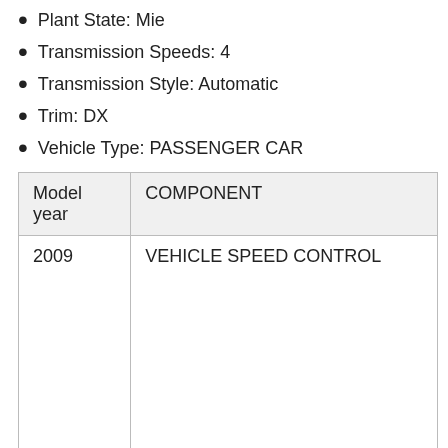Plant State: Mie
Transmission Speeds: 4
Transmission Style: Automatic
Trim: DX
Vehicle Type: PASSENGER CAR
| Model year | COMPONENT |
| --- | --- |
| 2009 | VEHICLE SPEED CONTROL |